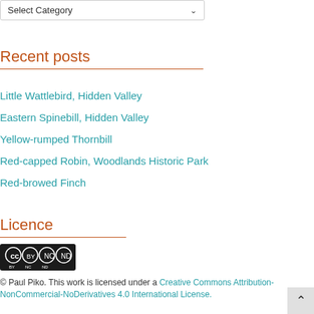Select Category
Recent posts
Little Wattlebird, Hidden Valley
Eastern Spinebill, Hidden Valley
Yellow-rumped Thornbill
Red-capped Robin, Woodlands Historic Park
Red-browed Finch
Licence
[Figure (logo): Creative Commons CC BY NC ND badge]
© Paul Piko. This work is licensed under a Creative Commons Attribution-NonCommercial-NoDerivatives 4.0 International License.